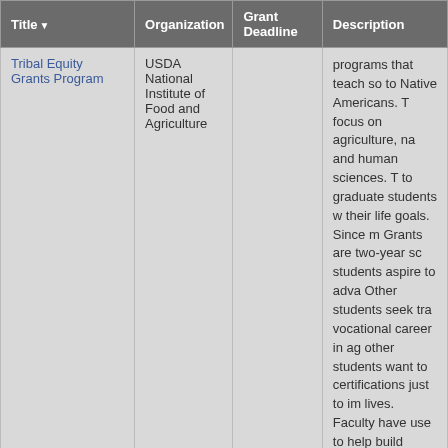| Title | Organization | Grant Deadline | Description |
| --- | --- | --- | --- |
| Tribal Equity Grants Program | USDA National Institute of Food and Agriculture |  | programs that teach so... to Native Americans. T... focus on agriculture, na... and human sciences. T... to graduate students w... their life goals. Since m... Grants are two-year sc... students aspire to adva... Other students seek tra... vocational career in ag... other students want to... certifications just to im... lives. Faculty have use... to help build laboratori... remedial courses, crea... programs in forestry an... students stipends so th... their education. The go... empowered students w... their future with new sk... knowledge. |
|  |  |  | Applications Due: S... |